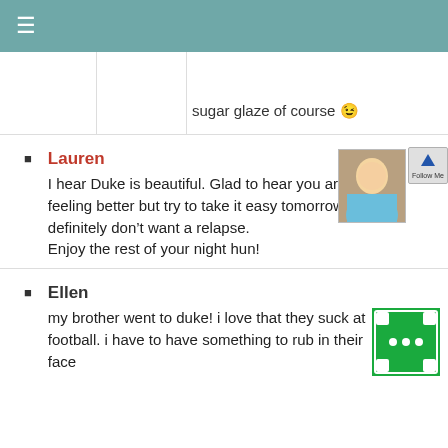≡
sugar glaze of course 😉
Lauren
I hear Duke is beautiful. Glad to hear you are feeling better but try to take it easy tomorrow. You definitely don't want a relapse.
Enjoy the rest of your night hun!
Ellen
my brother went to duke! i love that they suck at football. i have to have something to rub in their face